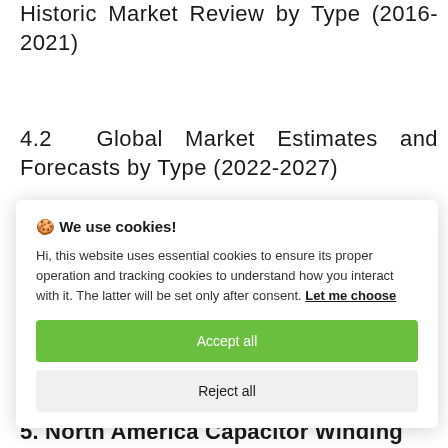Historic Market Review by Type (2016-2021)
4.2 Global Market Estimates and Forecasts by Type (2022-2027)
🍪 We use cookies!

Hi, this website uses essential cookies to ensure its proper operation and tracking cookies to understand how you interact with it. The latter will be set only after consent. Let me choose

Accept all

Reject all
5. North America Capacitor Winding